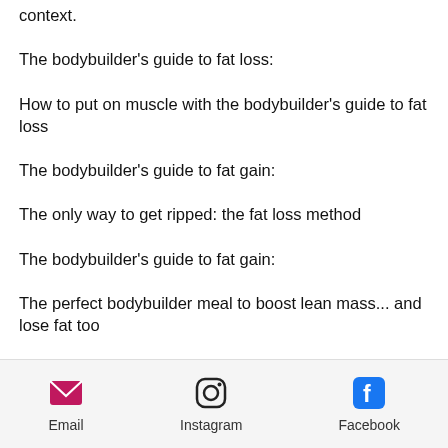context.
The bodybuilder's guide to fat loss:
How to put on muscle with the bodybuilder's guide to fat loss
The bodybuilder's guide to fat gain:
The only way to get ripped: the fat loss method
The bodybuilder's guide to fat gain:
The perfect bodybuilder meal to boost lean mass... and lose fat too
The bodybuilder's guide to fat loss:
Email   Instagram   Facebook